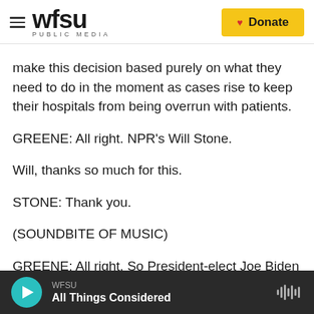WFSU PUBLIC MEDIA | Donate
make this decision based purely on what they need to do in the moment as cases rise to keep their hospitals from being overrun with patients.
GREENE: All right. NPR's Will Stone.
Will, thanks so much for this.
STONE: Thank you.
(SOUNDBITE OF MUSIC)
GREENE: All right. So President-elect Joe Biden has chosen his new chief of staff, Ron. Klain,
WFSU | All Things Considered